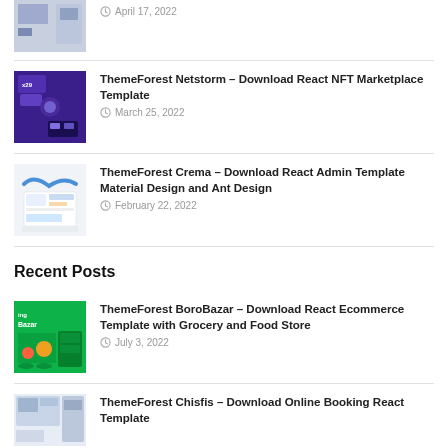[Figure (screenshot): Thumbnail image of a template (partially visible at top)]
April 17, 2022
[Figure (screenshot): ThemeForest Netstorm NFT Marketplace purple-themed thumbnail]
ThemeForest Netstorm – Download React NFT Marketplace Template
March 25, 2022
[Figure (screenshot): ThemeForest Crema admin dashboard thumbnail]
ThemeForest Crema – Download React Admin Template Material Design and Ant Design
February 22, 2022
Recent Posts
[Figure (screenshot): ThemeForest BoroBazar green grocery ecommerce thumbnail]
ThemeForest BoroBazar – Download React Ecommerce Template with Grocery and Food Store
July 3, 2022
[Figure (screenshot): ThemeForest Chisfis booking template thumbnail (partially visible)]
ThemeForest Chisfis – Download Online Booking React Template